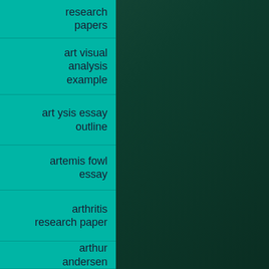research papers
art visual analysis example
art ysis essay outline
artemis fowl essay
arthritis research paper
arthur andersen